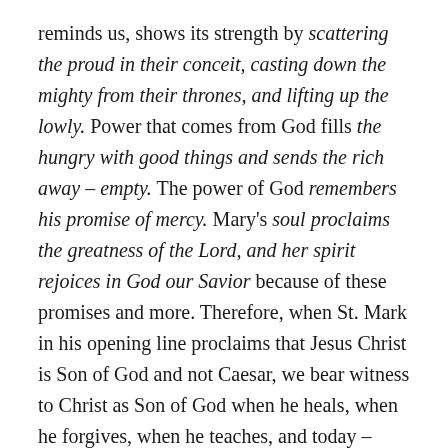reminds us, shows its strength by scattering the proud in their conceit, casting down the mighty from their thrones, and lifting up the lowly. Power that comes from God fills the hungry with good things and sends the rich away – empty. The power of God remembers his promise of mercy. Mary's soul proclaims the greatness of the Lord, and her spirit rejoices in God our Savior because of these promises and more. Therefore, when St. Mark in his opening line proclaims that Jesus Christ is Son of God and not Caesar, we bear witness to Christ as Son of God when he heals, when he forgives, when he teaches, and today – when he calms the storm. It is Jesus Christ, not Caesar who has control over life, death, wind and rain. It is Jesus Christ, not Caesar, who acknowledges the oppressed, the fearful, the lonely who come at him like a tempest blowing in from the east, the west, the north, and the south.